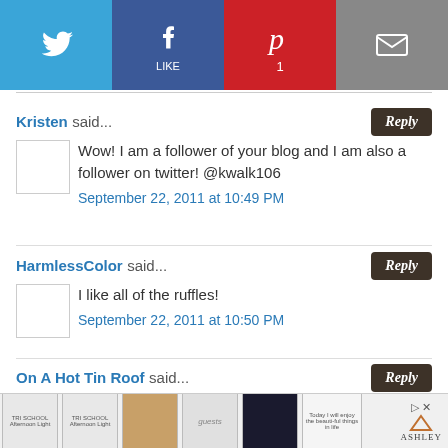[Figure (infographic): Social sharing bar with Twitter (blue), Facebook (dark blue), Pinterest (red, count: 1), and Email (gray) buttons]
Kristen said...
Wow! I am a follower of your blog and I am also a follower on twitter! @kwalk106
September 22, 2011 at 10:49 PM
HarmlessColor said...
I like all of the ruffles!
September 22, 2011 at 10:50 PM
On A Hot Tin Roof said...
absolutely love your blog. my favorite recently was your